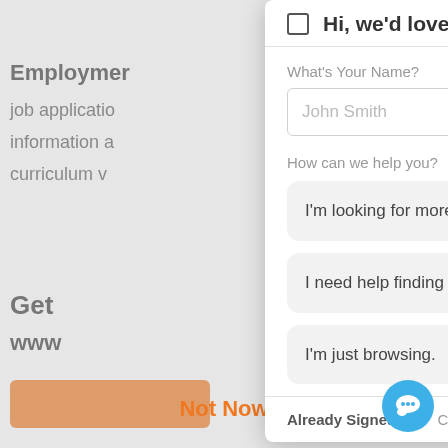Employment
job applicatio
information a
curriculum v
Get
www
[Figure (screenshot): Chat widget modal overlay with name input field, help topic options ('I'm looking for more info on the real estate market.', 'I need help finding a specific type of home.', 'I'm just browsing.'), and footer with 'Already Signed Up? Click here to login.' Below modal: 'Not Now' link in orange and blue chat bubble icon.]